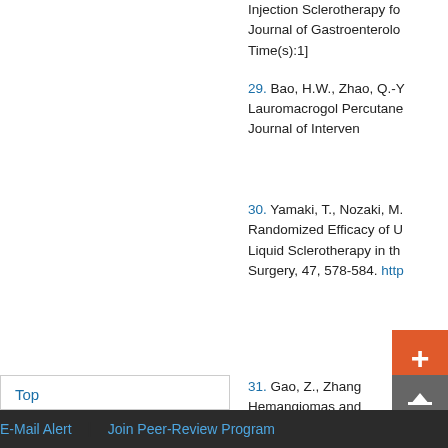Injection Sclerotherapy for Journal of Gastroenterology Time(s):1]
29. Bao, H.W., Zhao, Q.-Y. Lauromacrogol Percutaneous Journal of Interven
30. Yamaki, T., Nozaki, M. Randomized Efficacy of U Liquid Sclerotherapy in the Surgery, 47, 578-584. http
31. Gao, Z., Zhang Hemangiomas and Time(s):1]
Top
ABSTRACT
Introduction
Introduction to the Compound
Chemistry and Formulation
Clinical Application
E-Mail Alert   Join Peer-Review Program